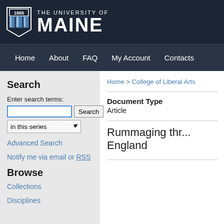[Figure (logo): University of Maine logo with shield and text]
Home  About  FAQ  My Account  Contacts
Search
Enter search terms:
in this series
Advanced Search
Notify me via email or RSS
Browse
Collections
Disciplines
Home > College of Liberal Arts
Document Type
Article
Rummaging thr... England